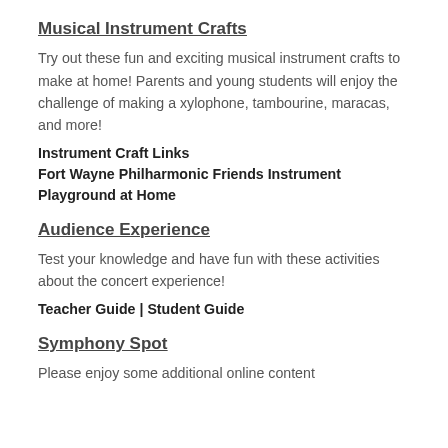Musical Instrument Crafts
Try out these fun and exciting musical instrument crafts to make at home!  Parents and young students will enjoy the challenge of making a xylophone, tambourine, maracas, and more!
Instrument Craft Links
Fort Wayne Philharmonic Friends Instrument Playground at Home
Audience Experience
Test your knowledge and have fun with these activities about the concert experience!
Teacher Guide | Student Guide
Symphony Spot
Please enjoy some additional online content